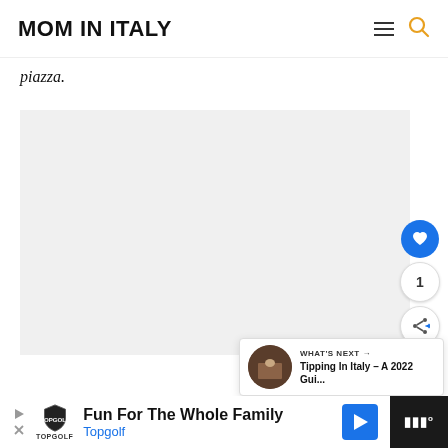MOM IN ITALY
piazza.
[Figure (photo): Light gray placeholder image area for an embedded photo]
[Figure (infographic): What's Next panel showing thumbnail and text: Tipping In Italy – A 2022 Gui...]
[Figure (infographic): Advertisement banner: Fun For The Whole Family – Topgolf]